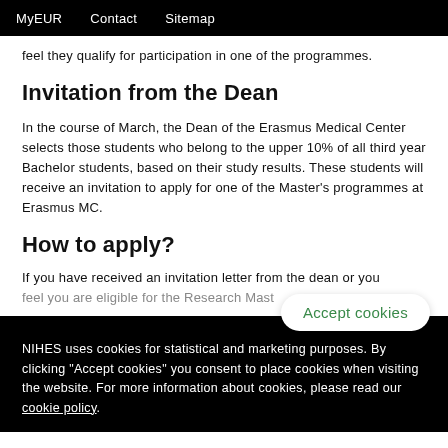MyEUR   Contact   Sitemap
feel they qualify for participation in one of the programmes.
Invitation from the Dean
In the course of March, the Dean of the Erasmus Medical Center selects those students who belong to the upper 10% of all third year Bachelor students, based on their study results. These students will receive an invitation to apply for one of the Master's programmes at Erasmus MC.
How to apply?
If you have received an invitation letter from the dean or you feel you are eligible for the Research Mast
NIHES uses cookies for statistical and marketing purposes. By clicking "Accept cookies" you consent to place cookies when visiting the website. For more information about cookies, please read our cookie policy.